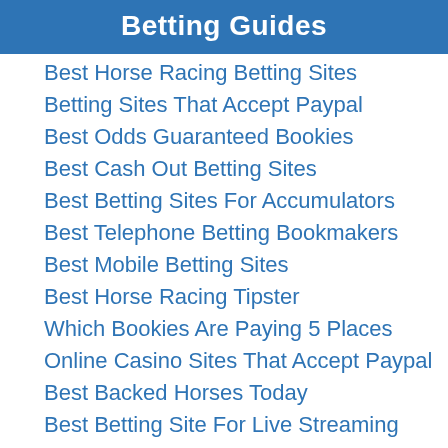Betting Guides
Best Horse Racing Betting Sites
Betting Sites That Accept Paypal
Best Odds Guaranteed Bookies
Best Cash Out Betting Sites
Best Betting Sites For Accumulators
Best Telephone Betting Bookmakers
Best Mobile Betting Sites
Best Horse Racing Tipster
Which Bookies Are Paying 5 Places
Online Casino Sites That Accept Paypal
Best Backed Horses Today
Best Betting Site For Live Streaming